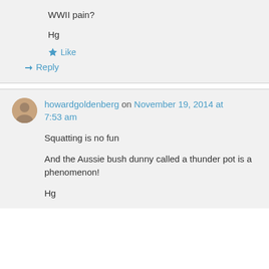WWII pain?
Hg
★ Like
↳ Reply
howardgoldenberg on November 19, 2014 at 7:53 am
Squatting is no fun
And the Aussie bush dunny called a thunder pot is a phenomenon!
Hg